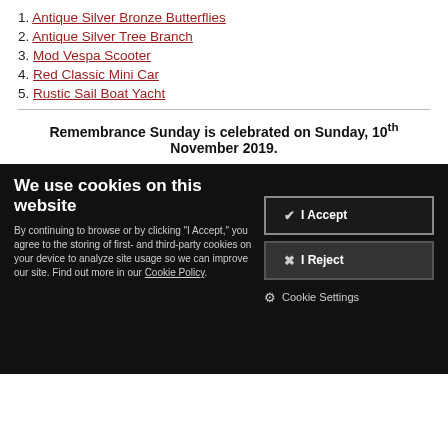1. Antique Silver Bronze Butterflies
2. Antique Silver Tree Branch
3. Mod Vespa Scooter
4. Red Classic Mini Car
5. Rustic Sail Boat Yacht
Remembrance Sunday is celebrated on Sunday, 10th November 2019.
We use cookies on this website
By continuing to browse or by clicking "I Accept," you agree to the storing of first- and third-party cookies on your device to analyze site usage so we can improve our site. Find out more in our Cookie Policy.